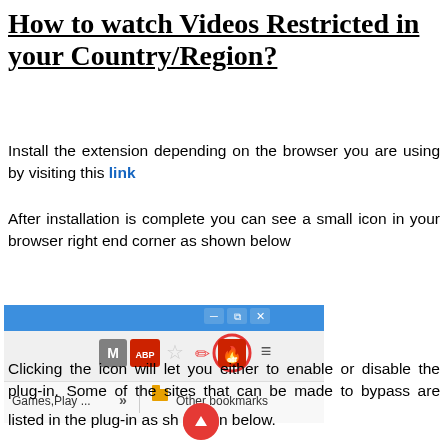How to watch Videos Restricted in your Country/Region?
Install the extension depending on the browser you are using by visiting this link
After installation is complete you can see a small icon in your browser right end corner as shown below
[Figure (screenshot): Browser toolbar screenshot showing browser extension icons including a highlighted extension icon circled in red, with bookmarks bar showing 'Games,Play ...' and 'Other bookmarks']
Clicking the icon will let you either to enable or disable the plug-in. Some of the sites that can be made to bypass are listed in the plug-in as shown below.